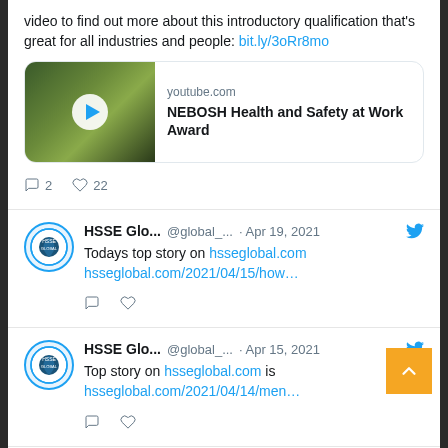video to find out more about this introductory qualification that's great for all industries and people: bit.ly/3oRr8mo
[Figure (screenshot): YouTube video card showing NEBOSH Health and Safety at Work Award with play button thumbnail]
2 replies, 22 likes
HSSE Glo... @global_... · Apr 19, 2021 — Todays top story on hsseglobal.com hsseglobal.com/2021/04/15/how...
HSSE Glo... @global_... · Apr 15, 2021 — Top story on hsseglobal.com is hsseglobal.com/2021/04/14/men...